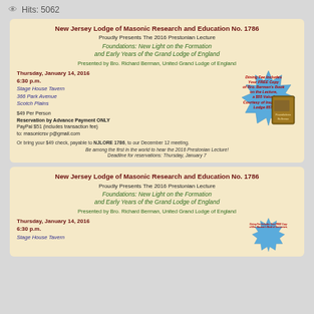Hits: 5062
New Jersey Lodge of Masonic Research and Education No. 1786
Proudly Presents The 2016 Prestonian Lecture
Foundations: New Light on the Formation and Early Years of the Grand Lodge of England
Presented by Bro. Richard Berman, United Grand Lodge of England
Thursday, January 14, 2016
6:30 p.m.
Stage House Tavern
366 Park Avenue
Scotch Plains
$49 Per Person
Reservation by Advance Payment ONLY
PayPal $51 (includes transaction fee)
to: masonicrsv p@gmail.com
Or bring your $49 check, payable to NJLORE 1786, to our December 12 meeting.
Be among the first in the world to hear the 2016 Prestonian Lecture!
Deadline for reservations: Thursday, January 7
New Jersey Lodge of Masonic Research and Education No. 1786
Proudly Presents The 2016 Prestonian Lecture
Foundations: New Light on the Formation and Early Years of the Grand Lodge of England
Presented by Bro. Richard Berman, United Grand Lodge of England
Thursday, January 14, 2016
6:30 p.m.
Stage House Tavern